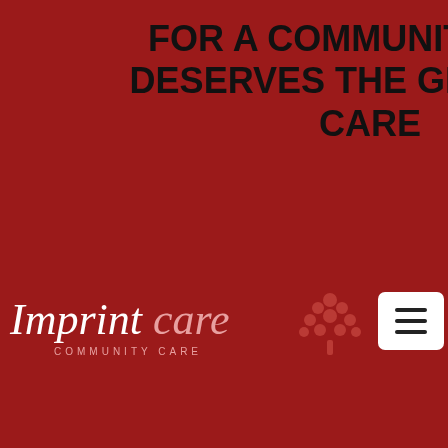FOR A COMMUNITY THAT DESERVES THE GREATEST CARE
[Figure (logo): Imprint Care Community Care logo with tree icon on dark red background, with hamburger menu button]
← Post 🔍
curlkelse · Jun 07, 2021
Countdown Towards Kickoff: Texans vs. Colts
Countdown Towards Kickoff: Texans vs. Colts
This soccer time incorporates been eye-